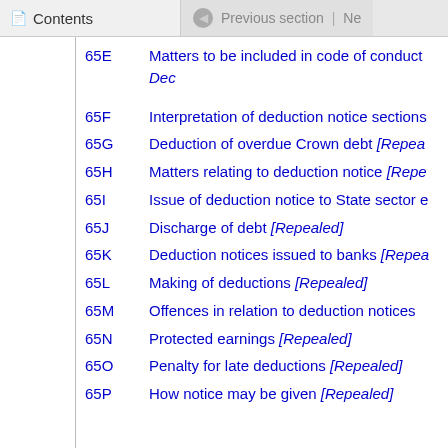Contents | Previous section | Ne
65E   Matters to be included in code of conduct Dec
65F   Interpretation of deduction notice sections
65G   Deduction of overdue Crown debt [Repealed]
65H   Matters relating to deduction notice [Repealed]
65I   Issue of deduction notice to State sector e
65J   Discharge of debt [Repealed]
65K   Deduction notices issued to banks [Repealed]
65L   Making of deductions [Repealed]
65M   Offences in relation to deduction notices
65N   Protected earnings [Repealed]
65O   Penalty for late deductions [Repealed]
65P   How notice may be given [Repealed]